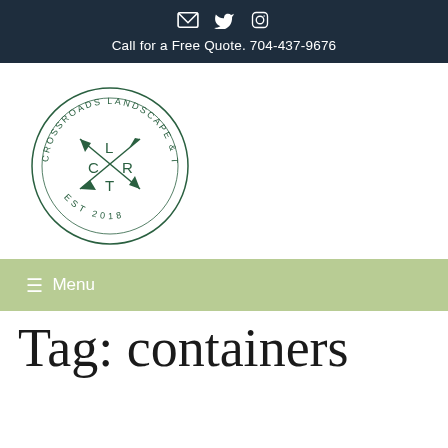Social icons: email, twitter, instagram
Call for a Free Quote. 704-437-9676
[Figure (logo): Crossroads Landscape & Turf circular logo with CLR T letters and crossed arrows, EST 2018]
≡ Menu
Tag: containers